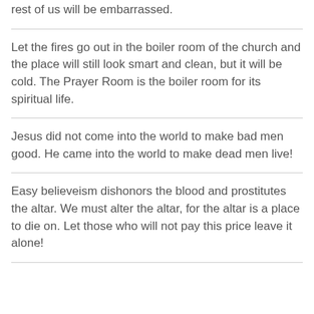rest of us will be embarrassed.
Let the fires go out in the boiler room of the church and the place will still look smart and clean, but it will be cold. The Prayer Room is the boiler room for its spiritual life.
Jesus did not come into the world to make bad men good. He came into the world to make dead men live!
Easy believeism dishonors the blood and prostitutes the altar. We must alter the altar, for the altar is a place to die on. Let those who will not pay this price leave it alone!